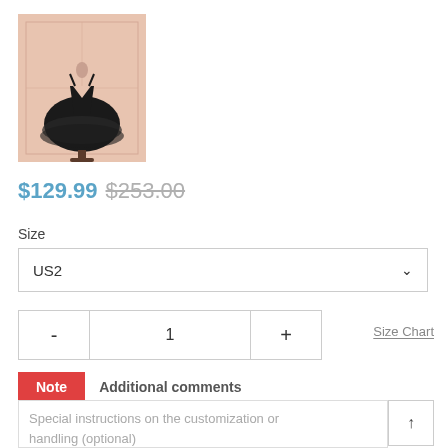[Figure (photo): Product photo of a black short tulle dress with deep V-neckline on a mannequin, displayed against a pink/beige paneled background.]
$129.99 $253.00
Size
US2
- 1 +
Size Chart
Note   Additional comments
Special instructions on the customization or handling (optional)